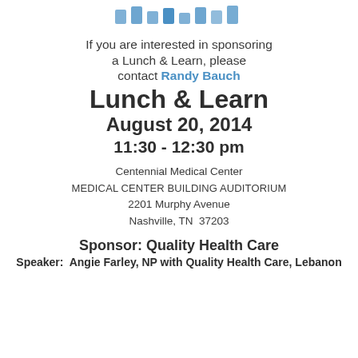[Figure (logo): Partial logo/graphic at top of page, appears cropped]
If you are interested in sponsoring a Lunch & Learn, please contact Randy Bauch
Lunch & Learn
August 20, 2014
11:30 - 12:30 pm
Centennial Medical Center
MEDICAL CENTER BUILDING AUDITORIUM
2201 Murphy Avenue
Nashville, TN  37203
Sponsor: Quality Health Care
Speaker:  Angie Farley, NP with Quality Health Care, Lebanon